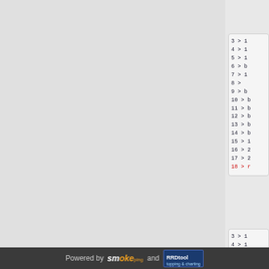[Figure (screenshot): Grey background area on the left side of the page]
3 > 1
4 > 1
5 > 1
6 > b
7 > 1
8 >
9 > b
10 > b
11 > b
12 > b
13 > b
14 > b
15 > 1
16 > 2
17 > 2
18 > r
3 > 1
4 > 1
5 > 1
Powered by smokeping and RRDtool